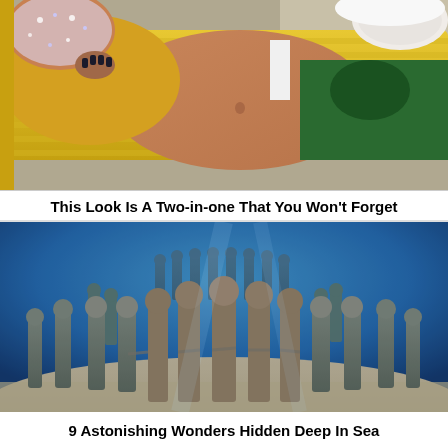[Figure (photo): Woman in yellow knit top and floral bikini bottom lying on yellow lounge chair, face obscured by a clear/sparkly covering, outdoors.]
This Look Is A Two-in-one That You Won't Forget
[Figure (photo): Underwater sculpture installation: a circle of human-like stone/concrete statues of children holding hands on the ocean floor, with blue water and sandy bottom.]
9 Astonishing Wonders Hidden Deep In Sea